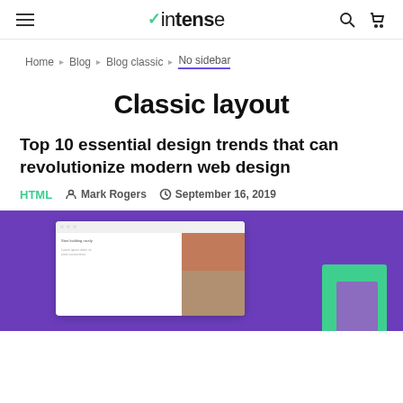intense — navigation header with hamburger menu, logo, search and cart icons
Home · Blog · Blog classic · No sidebar
Classic layout
Top 10 essential design trends that can revolutionize modern web design
HTML  Mark Rogers  September 16, 2019
[Figure (screenshot): Blog article featured image with purple background showing a browser mockup of a website with a terracotta image panel and a green decorative block in the bottom right.]